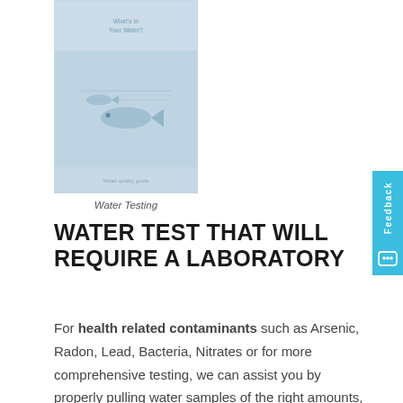[Figure (illustration): Thumbnail image of a water testing booklet/brochure showing fish underwater, with text 'What's in Your Water?' at the top]
Water Testing
WATER TEST THAT WILL REQUIRE A LABORATORY
For health related contaminants such as Arsenic, Radon, Lead, Bacteria, Nitrates or for more comprehensive testing, we can assist you by properly pulling water samples of the right amounts, including complying with required maximum holding periods,